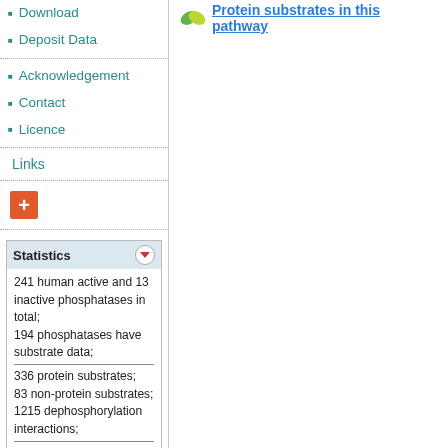Download
Deposit Data
Acknowledgement
Contact
Licence
Links
+
| Statistics |
| --- |
| 241 human active and 13 inactive phosphatases in total; |
| 194 phosphatases have substrate data; |
| --- |
| 336 protein substrates; |
| 83 non-protein substrates; |
| 1215 dephosphorylation interactions; |
| --- |
| 299 KEGG pathways; |
| 876 Reactome pathways; |
| --- |
| last update: 11 Mar, 2019 |
Protein substrates in this pathway